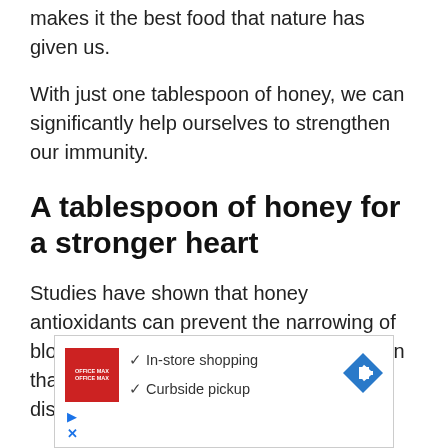makes it the best food that nature has given us.
With just one tablespoon of honey, we can significantly help ourselves to strengthen our immunity.
A tablespoon of honey for a stronger heart
Studies have shown that honey antioxidants can prevent the narrowing of blood vessels. And that is the main reason that otherwise causes heart failure. disorientation. and headaches.
[Figure (screenshot): Advertisement banner for Office Depot/OfficeMax showing logo, checkmarks for In-store shopping and Curbside pickup, and a blue diamond direction arrow icon]